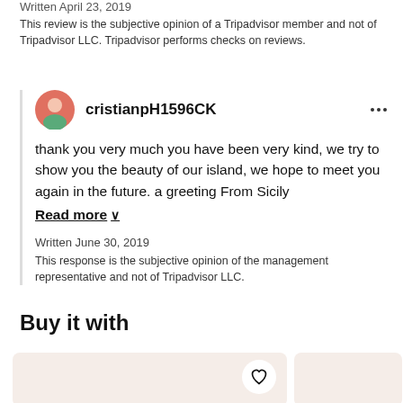Written April 23, 2019
This review is the subjective opinion of a Tripadvisor member and not of Tripadvisor LLC. Tripadvisor performs checks on reviews.
cristianpH1596CK
thank you very much you have been very kind, we try to show you the beauty of our island, we hope to meet you again in the future. a greeting From Sicily
Read more ∨
Written June 30, 2019
This response is the subjective opinion of the management representative and not of Tripadvisor LLC.
Buy it with
[Figure (other): Two product card thumbnails with pale pink background, one featuring a heart/wishlist button]